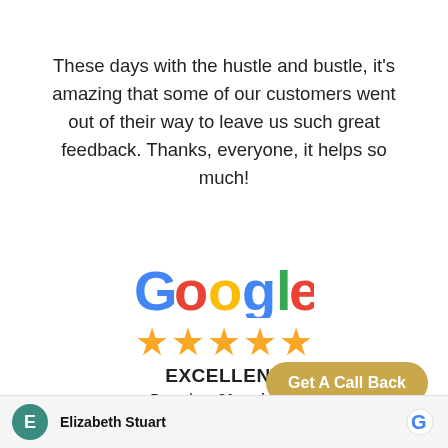These days with the hustle and bustle, it's amazing that some of our customers went out of their way to leave us such great feedback. Thanks, everyone, it helps so much!
[Figure (logo): Google logo in multicolor (blue, red, yellow, green) text]
[Figure (other): Five gold star rating icons]
EXCELLENT
Based on 81 reviews.
Get A Call Back
Elizabeth Stuart